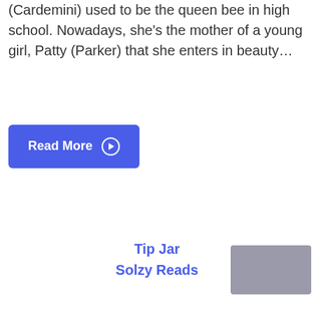(Cardemini) used to be the queen bee in high school. Nowadays, she's the mother of a young girl, Patty (Parker) that she enters in beauty...
Read More ⊙
Tip Jar
Solzy Reads
[Figure (photo): Partially visible thumbnail image in bottom-right corner]